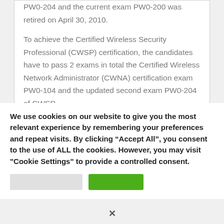PW0-204 and the current exam PW0-200 was retired on April 30, 2010.
To achieve the Certified Wireless Security Professional (CWSP) certification, the candidates have to pass 2 exams in total the Certified Wireless Network Administrator (CWNA) certification exam PW0-104 and the updated second exam PW0-204 of CWSP.
We use cookies on our website to give you the most relevant experience by remembering your preferences and repeat visits. By clicking “Accept All”, you consent to the use of ALL the cookies. However, you may visit "Cookie Settings" to provide a controlled consent.